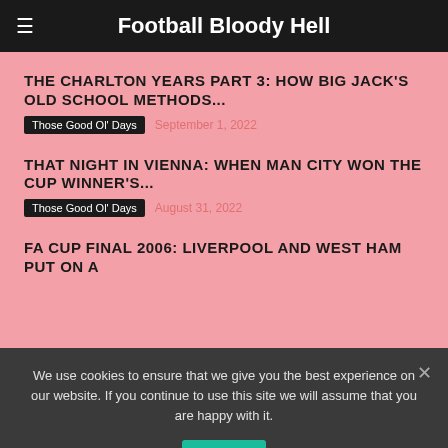Football Bloody Hell
THE CHARLTON YEARS PART 3: HOW BIG JACK'S OLD SCHOOL METHODS...
Those Good Ol' Days   September 1, 2022
THAT NIGHT IN VIENNA: WHEN MAN CITY WON THE CUP WINNER'S...
Those Good Ol' Days   August 31, 2022
FA CUP FINAL 2006: LIVERPOOL AND WEST HAM PUT ON A
We use cookies to ensure that we give you the best experience on our website. If you continue to use this site we will assume that you are happy with it.